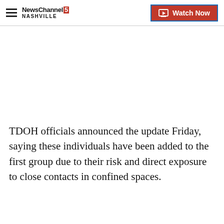NewsChannel 5 NASHVILLE | Watch Now
TDOH officials announced the update Friday, saying these individuals have been added to the first group due to their risk and direct exposure to close contacts in confined spaces.